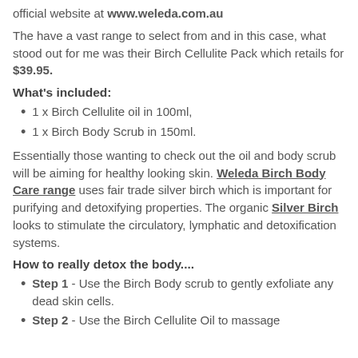official website at www.weleda.com.au
The have a vast range to select from and in this case, what stood out for me was their Birch Cellulite Pack which retails for $39.95.
What's included:
1 x Birch Cellulite oil in 100ml,
1 x Birch Body Scrub in 150ml.
Essentially those wanting to check out the oil and body scrub will be aiming for healthy looking skin. Weleda Birch Body Care range uses fair trade silver birch which is important for purifying and detoxifying properties. The organic Silver Birch looks to stimulate the circulatory, lymphatic and detoxification systems.
How to really detox the body....
Step 1 - Use the Birch Body scrub to gently exfoliate any dead skin cells.
Step 2 - Use the Birch Cellulite Oil to massage